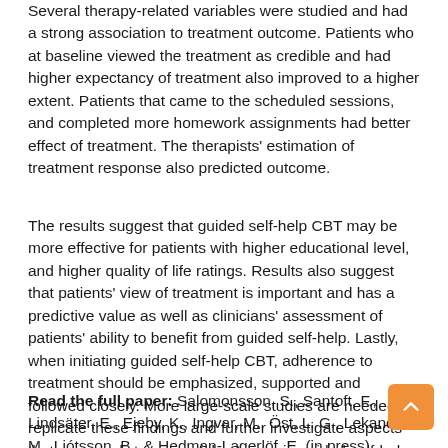Several therapy-related variables were studied and had a strong association to treatment outcome. Patients who at baseline viewed the treatment as credible and had higher expectancy of treatment also improved to a higher extent. Patients that came to the scheduled sessions, and completed more homework assignments had better effect of treatment. The therapists' estimation of treatment response also predicted outcome.
The results suggest that guided self-help CBT may be more effective for patients with higher educational level, and higher quality of life ratings. Results also suggest that patients' view of treatment is important and has a predictive value as well as clinicians' assessment of patients' ability to benefit from guided self-help. Lastly, when initiating guided self-help CBT, adherence to treatment should be emphasized, supported and followed closely. More large-scale studies are needed to replicate these findings and further investigate aspects that may predict successful outcome in guided self-help CBT.
Read the full paper: Salomonsson, S., Santoft, F., Lindsäter, E., Ejeby, K., Ingvar, M., Öst, L. G., Lekander, M., Ljótsson, B., & Hedman-Lagerlöf, E. (in press). Predictors of outcome in guided self-help